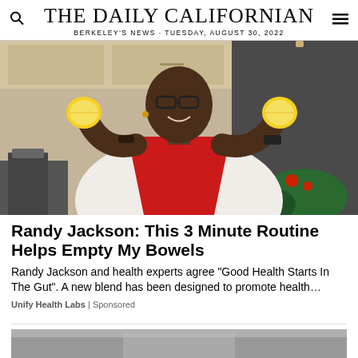THE DAILY CALIFORNIAN
BERKELEY'S NEWS · TUESDAY, AUGUST 30, 2022
[Figure (photo): Man wearing a red apron and white shirt, holding two lemon halves up, smiling, standing in a kitchen setting]
Randy Jackson: This 3 Minute Routine Helps Empty My Bowels
Randy Jackson and health experts agree "Good Health Starts In The Gut". A new blend has been designed to promote health…
Unify Health Labs | Sponsored
[Figure (photo): Partial view of a second article image, partially visible at the bottom of the page]